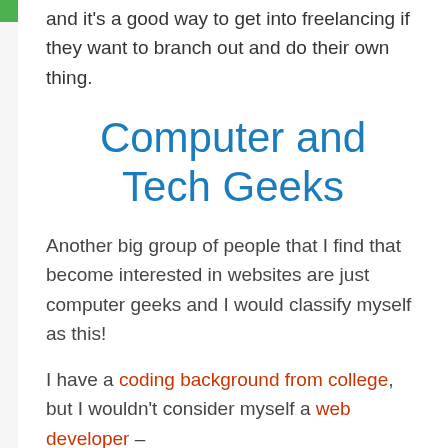and it's a good way to get into freelancing if they want to branch out and do their own thing.
Computer and Tech Geeks
Another big group of people that I find that become interested in websites are just computer geeks and I would classify myself as this!
I have a coding background from college, but I wouldn't consider myself a web developer –